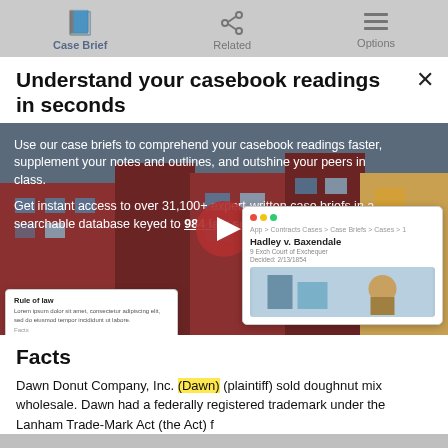Case Brief | Related | Options
Understand your casebook readings in seconds
[Figure (screenshot): Video thumbnail showing an animated illustration of a law school/bookstore with overlay text about case briefs and a play button in the center. Text reads: 'Use our case briefs to comprehend your casebook readings faster, supplement your notes and outlines, and outshine your peers in class. Get instant access to over 31,100+ expert-written case briefs in a searchable database keyed to 984 law school casebooks.' A screenshot of Hadley v. Baxendale case brief and a Rule of Law popup are visible overlaid on the video.]
Facts
Dawn Donut Company, Inc. (Dawn) (plaintiff) sold doughnut mix wholesale. Dawn had a federally registered trademark under the Lanham Trade-Mark Act (the Act) for